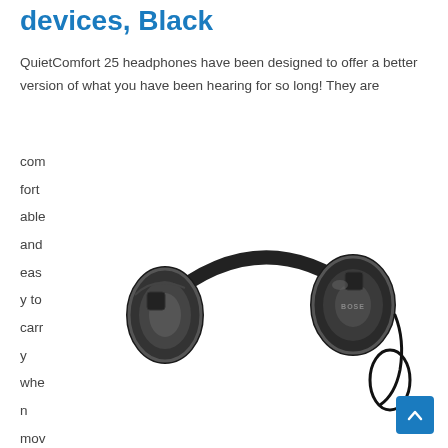devices, Black
QuietComfort 25 headphones have been designed to offer a better version of what you have been hearing for so long! They are comfortable and easy to carry when moving around
[Figure (photo): Black Bose QuietComfort 25 over-ear headphones shown from the side with cable visible, on white background]
[Figure (other): Blue scroll-to-top button with upward chevron arrow in bottom right corner]